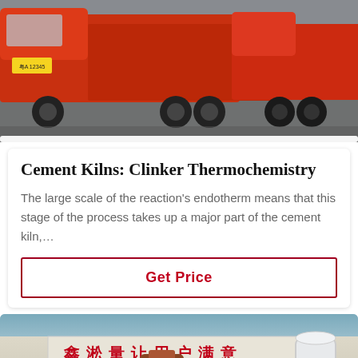[Figure (photo): Red cargo trucks parked on a road, photographed from the front-left angle]
Cement Kilns: Clinker Thermochemistry
The large scale of the reaction's endotherm means that this stage of the process takes up a major part of the cement kiln,…
Get Price
[Figure (photo): Industrial factory yard with Chinese signage reading 鑫淞量让用户满意, with various heavy industrial equipment including blue machinery, a cylindrical container, and a white vessel in the background]